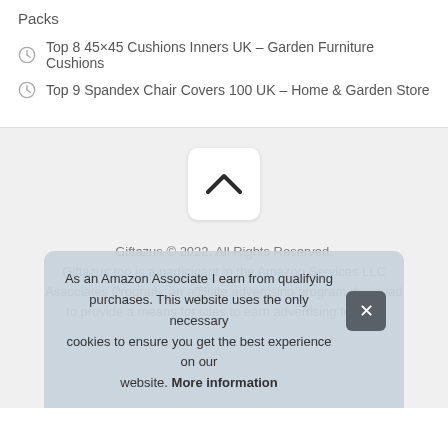Packs
Top 8 45×45 Cushions Inners UK – Garden Furniture Cushions
Top 9 Spandex Chair Covers 100 UK – Home & Garden Store
[Figure (other): Scroll to top button with upward chevron arrow on white rounded rectangle]
Giftazus © 2022. All Rights Reserved. Giftazus.top is a participant in the Amazon Services LLC Associates Program, an affiliate advertising program designed to provide a means for sites to earn advertising fees by
As an Amazon Associate I earn from qualifying purchases. This website uses the only necessary cookies to ensure you get the best experience on our website. More information